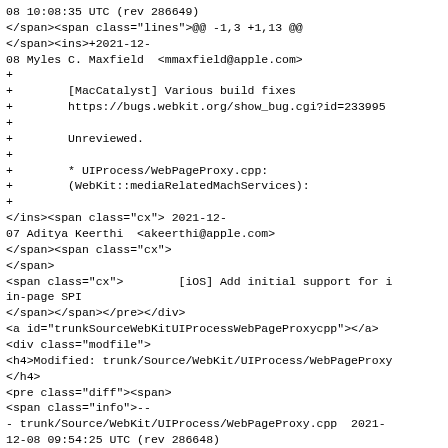08 10:08:35 UTC (rev 286649)
</span><span class="lines">@@ -1,3 +1,13 @@
</span><ins>+2021-12-
08 Myles C. Maxfield  <mmaxfield@apple.com>
+
+        [MacCatalyst] Various build fixes
+        https://bugs.webkit.org/show_bug.cgi?id=233995
+
+        Unreviewed.
+
+        * UIProcess/WebPageProxy.cpp:
+        (WebKit::mediaRelatedMachServices):
+
</ins><span class="cx"> 2021-12-
07 Aditya Keerthi  <akeerthi@apple.com>
</span><span class="cx">
</span>
<span class="cx">        [iOS] Add initial support for i
in-page SPI
</span></span></pre></div>
<a id="trunkSourceWebKitUIProcessWebPageProxycpp"></a>
<div class="modfile">
<h4>Modified: trunk/Source/WebKit/UIProcess/WebPageProxy
</h4>
<pre class="diff"><span>
<span class="info">--
- trunk/Source/WebKit/UIProcess/WebPageProxy.cpp  2021-
12-08 09:54:25 UTC (rev 286648)
+++ trunk/Source/WebKit/UIProcess/WebPageProxy.cpp  2
12-08 10:08:35 UTC (rev 286649)
*/span><span class="lines">@@ -3181,7 +3181,7 @@